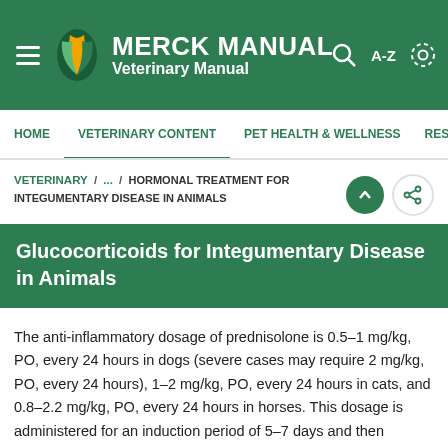MERCK MANUAL Veterinary Manual
HOME / VETERINARY CONTENT / PET HEALTH & WELLNESS / RESO
VETERINARY / ... / HORMONAL TREATMENT FOR INTEGUMENTARY DISEASE IN ANIMALS
Glucocorticoids for Integumentary Disease in Animals
The anti-inflammatory dosage of prednisolone is 0.5–1 mg/kg, PO, every 24 hours in dogs (severe cases may require 2 mg/kg, PO, every 24 hours), 1–2 mg/kg, PO, every 24 hours in cats, and 0.8–2.2 mg/kg, PO, every 24 hours in horses. This dosage is administered for an induction period of 5–7 days and then reduced to the lowest possible maintenance dosage (ideally 0.25 mg/kg, PO, every 48–72 hours or lower in dogs and 0.4–1 mg/kg every 48–72 hours